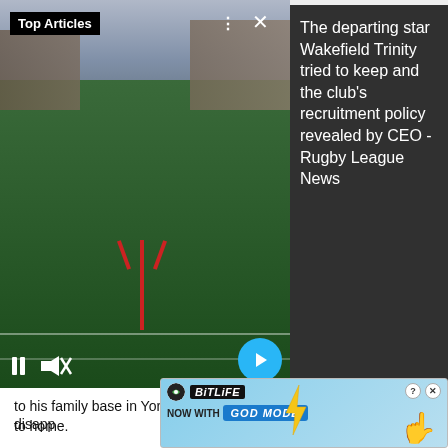[Figure (screenshot): Video player showing a rugby league pitch with goal posts. Top bar shows 'Top Articles' badge in black. Sidebar shows text about Wakefield Trinity. Video controls (pause, mute, forward arrow) visible.]
The departing star Wakefield Trinity tried to keep and the club's recruitment policy revealed by CEO - Rugby League News
to his family base in Yorkshire to pursue career opportunities closer to home.
Wigan Warriors Executive Director, Kris Radlinski, said: “Zak Hardaker is a hugely talented player, universally liked by team mates and staff. Everybody at Wigan Warriors has done everything they could to provide him with the platform he needed to shine at the highest level.
“As a c… disapp… to
[Figure (screenshot): BitLife advertisement banner with 'NOW WITH GOD MODE' text and pointing hand graphic]